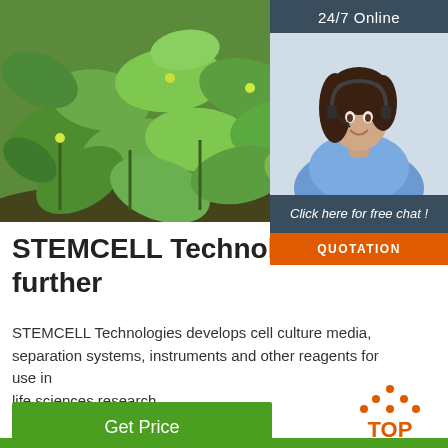[Figure (photo): Close-up photo of green succulent plant leaves with soil, multiple small round leaves visible]
[Figure (photo): 24/7 Online support panel with woman wearing headset, dark blue background header, chat and quotation buttons]
STEMCELL TechnologiesEx further
STEMCELL Technologies develops cell culture media, separation systems, instruments and other reagents for use in life sciences research.
[Figure (other): Green 'Get Price' button]
[Figure (logo): Orange TOP logo with dot pattern triangle above the word TOP]